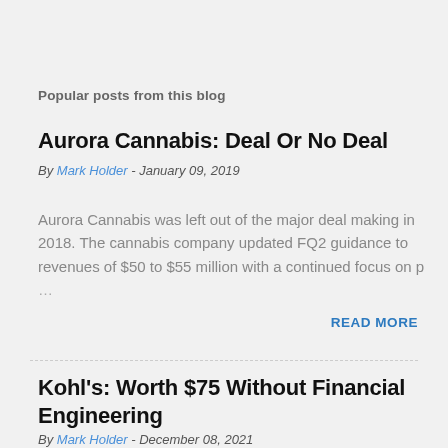Popular posts from this blog
Aurora Cannabis: Deal Or No Deal
By Mark Holder - January 09, 2019
Aurora Cannabis was left out of the major deal making in 2018. The cannabis company updated FQ2 guidance to revenues of $50 to $55 million with a continued focus on p…
READ MORE
Kohl's: Worth $75 Without Financial Engineering
By Mark Holder - December 08, 2021